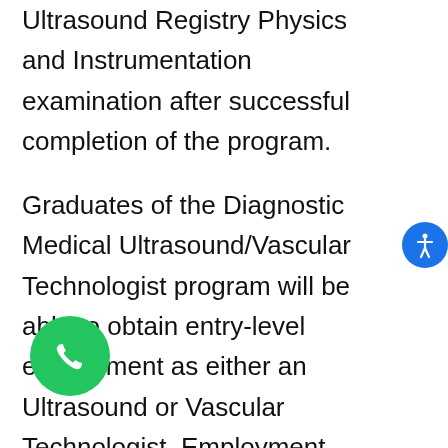Ultrasound Registry Physics and Instrumentation examination after successful completion of the program.
Graduates of the Diagnostic Medical Ultrasound/Vascular Technologist program will be able to obtain entry-level employment as either an Ultrasound or Vascular Technologist. Employment opportunities can be found in many places, including medical centers, hospitals, imaging centers, mobile or portable medical ultrasound clinics, as well as the ultrasound registry and more!